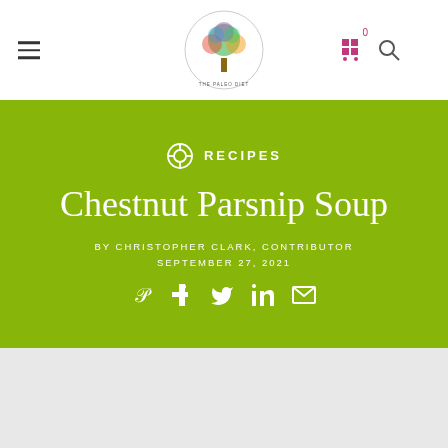The Paleo Diet — navigation header with logo, hamburger menu, cart, and search
RECIPES
Chestnut Parsnip Soup
BY CHRISTOPHER CLARK, CONTRIBUTOR
SEPTEMBER 27, 2021
[Figure (infographic): Social sharing icons: Pinterest, Facebook, Twitter, LinkedIn, Email]
[Figure (photo): Gray placeholder area for article image]